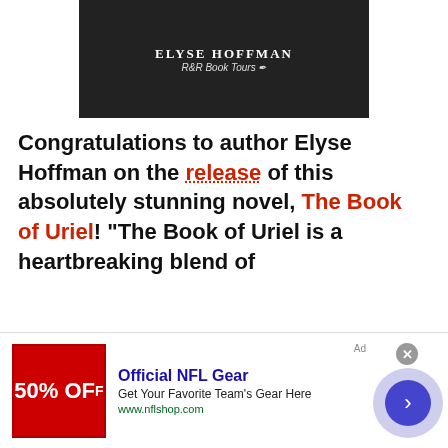[Figure (photo): Book banner image for Elyse Hoffman's book with R&R Book Tours branding, dark background with author name]
Congratulations to author Elyse Hoffman on the release of this absolutely stunning novel, The Book of Uriel! "The Book of Uriel is a heartbreaking blend of
Our blog uses cookies to ensure you get the best experience while visiting. Please refer to our Privacy Policy by using the navigation above
[Figure (infographic): infolinks badge]
[Figure (infographic): Advertisement for Official NFL Gear - 50% OFF - Get Your Favorite Team's Here - www.nflshop.com]